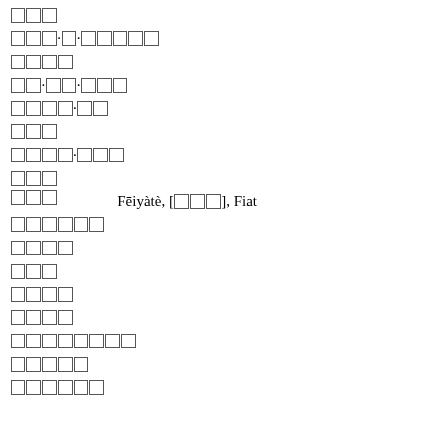□□□
□□□·□·□□□□□
□□□□
□□·□□·□□□
□□□□□·□□
□□□
□□□□·□□□
□□□
□□□    Fēiyàtè, [□□□], Fiat
□□□□□□
□□□□
□□□
□□□□
□□□□
□□□□□□□□
□□□□□
□□□□□□